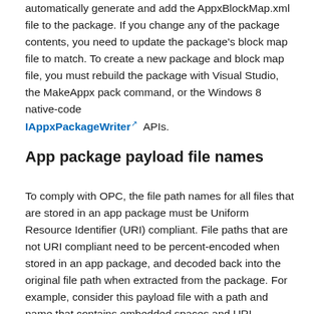automatically generate and add the AppxBlockMap.xml file to the package. If you change any of the package contents, you need to update the package's block map file to match. To create a new package and block map file, you must rebuild the package with Visual Studio, the MakeAppx pack command, or the Windows 8 native-code IAppxPackageWriter APIs.
App package payload file names
To comply with OPC, the file path names for all files that are stored in an app package must be Uniform Resource Identifier (URI) compliant. File paths that are not URI compliant need to be percent-encoded when stored in an app package, and decoded back into the original file path when extracted from the package. For example, consider this payload file with a path and name that contains embedded spaces and URI reserved characters '[' and ']':